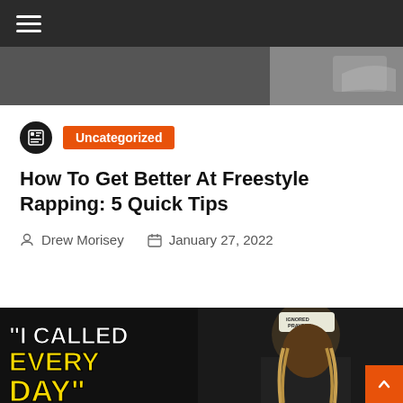☰ (navigation menu)
[Figure (photo): Partial top image strip, dark/grey background, appears to be part of an article thumbnail cropped at top]
Uncategorized
How To Get Better At Freestyle Rapping: 5 Quick Tips
Drew Morisey   January 27, 2022
[Figure (photo): Dark background image with large yellow and white bold text reading "I CALLED EVERY DAY" and a photo of a man wearing a white hat labeled IGNORED PRAYERS with dreadlocks]